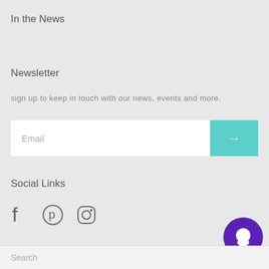In the News
Newsletter
sign up to keep in touch with our news, events and more.
[Figure (screenshot): Email input field with teal submit arrow button]
Social Links
[Figure (infographic): Facebook, Pinterest, and Instagram social media icons]
[Figure (other): Purple circular chat bubble button]
Search